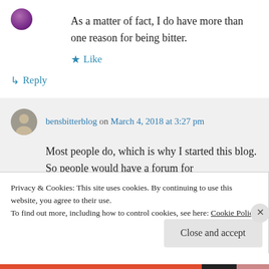As a matter of fact, I do have more than one reason for being bitter.
★ Like
↳ Reply
bensbitterblog on March 4, 2018 at 3:27 pm
Most people do, which is why I started this blog. So people would have a forum for
Privacy & Cookies: This site uses cookies. By continuing to use this website, you agree to their use.
To find out more, including how to control cookies, see here: Cookie Policy
Close and accept